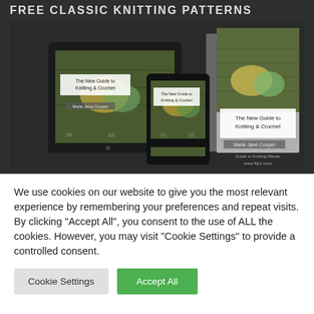FREE CLASSIC KNITTING PATTERNS
[Figure (photo): Book covers displayed on a tablet, smartphone, and physical book. The covers show 'The New Guide to Knitting & Crochet' by Marie Jane Cooper, featuring yarn/fabric on a cutting mat background. Three devices/formats shown side by side on a dark background.]
We use cookies on our website to give you the most relevant experience by remembering your preferences and repeat visits. By clicking "Accept All", you consent to the use of ALL the cookies. However, you may visit "Cookie Settings" to provide a controlled consent.
Cookie Settings
Accept All